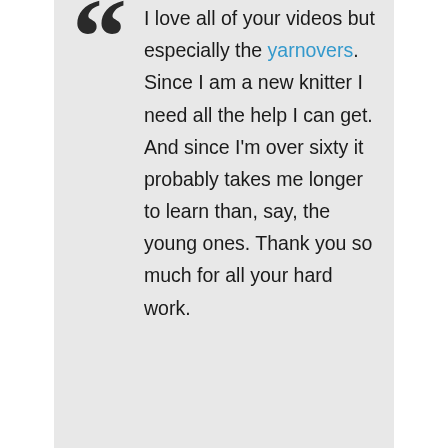I love all of your videos but especially the yarnovers. Since I am a new knitter I need all the help I can get. And since I'm over sixty it probably takes me longer to learn than, say, the young ones. Thank you so much for all your hard work.